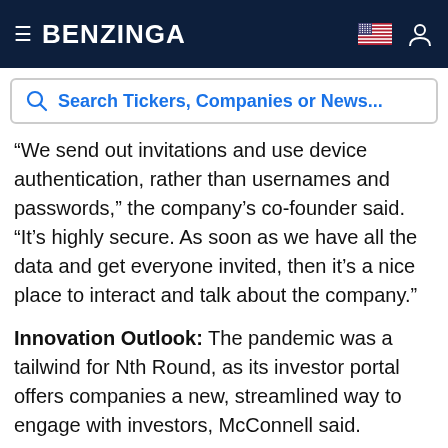BENZINGA
Search Tickers, Companies or News...
“We send out invitations and use device authentication, rather than usernames and passwords,” the company’s co-founder said. “It’s highly secure. As soon as we have all the data and get everyone invited, then it’s a nice place to interact and talk about the company.”
Innovation Outlook: The pandemic was a tailwind for Nth Round, as its investor portal offers companies a new, streamlined way to engage with investors, McConnell said.
“With markets being at an all-time high and interest rates at an all-time low, investors are looking for places